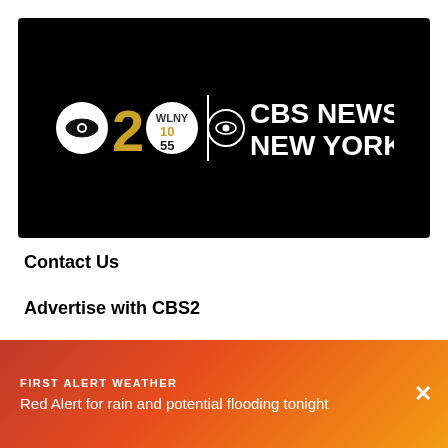[Figure (logo): CBS2 / WLNY 10/55 / CBS News New York logo on black background]
Contact Us
Advertise with CBS2
[Figure (logo): CBS2 silver and orange logo watermark]
FIRST ALERT WEATHER
Red Alert for rain and potential flooding tonight